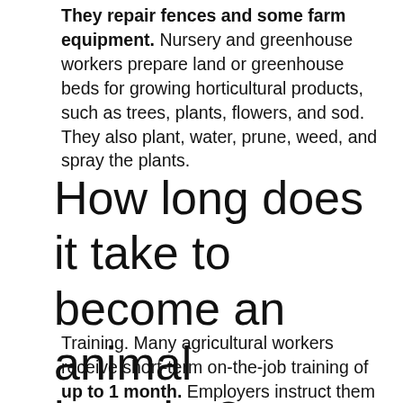They repair fences and some farm equipment. Nursery and greenhouse workers prepare land or greenhouse beds for growing horticultural products, such as trees, plants, flowers, and sod. They also plant, water, prune, weed, and spray the plants.
How long does it take to become an animal breeder?
Training. Many agricultural workers receive short-term on-the-job training of up to 1 month. Employers instruct them on how to use simple farming tools and complex...